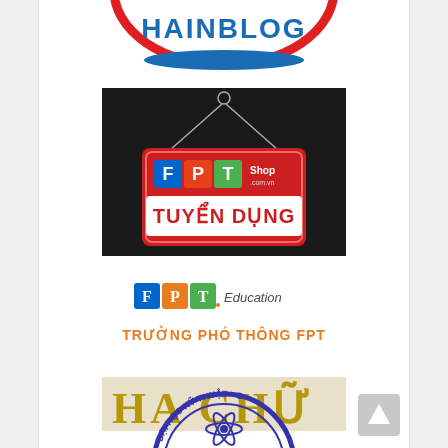[Figure (logo): Partial view of Hainblog logo - red circle border with blue text 'HAINBLOG' and blue wave/swoosh at bottom]
[Figure (illustration): FPT Shop Tuyen Dung recruitment banner - dark background with hanging red sign showing FPT Shop logo and text 'TUYEN DUNG' in white bold letters]
[Figure (logo): FPT Education logo with colored letter blocks F, P, T and 'Education' text, followed by orange text 'TRUONG PHO THONG FPT']
[Figure (photo): Partial image of golden/yellow lettering on light background, partially cropped]
[Figure (logo): Partial circular stamp/seal for Dai Hoc Ky Thuat with blue border text and atom symbol in center, bottom portion visible]